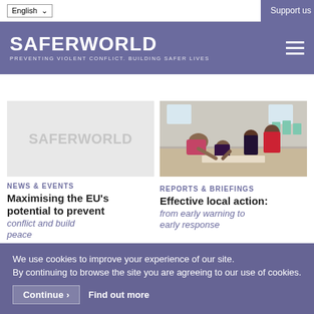English | Support us
SAFERWORLD — PREVENTING VIOLENT CONFLICT. BUILDING SAFER LIVES
[Figure (logo): Saferworld logo placeholder image — grey background with watermark text SAFERWORLD]
NEWS & EVENTS
Maximising the EU's potential to prevent conflict and build peace
[Figure (photo): Photo of children and adults sitting on the floor together in a group, working on something, in an indoor setting]
REPORTS & BRIEFINGS
Effective local action: from early warning to early response
We use cookies to improve your experience of our site. By continuing to browse the site you are agreeing to our use of cookies.
Continue › Find out more